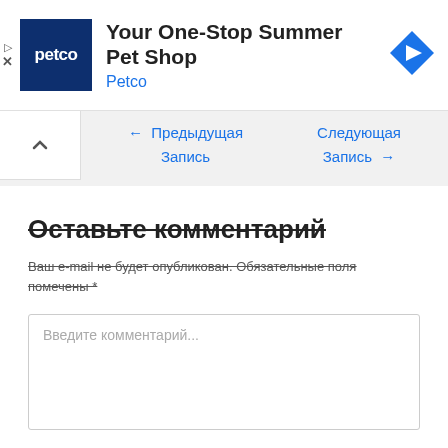[Figure (screenshot): Petco advertisement banner with logo, headline 'Your One-Stop Summer Pet Shop', brand name 'Petco', and navigation arrow icon. Includes ad attribution markers (play and close icons).]
← Предыдущая Запись
Следующая Запись →
Оставьте комментарий
Ваш e-mail не будет опубликован. Обязательные поля помечены *
Введите комментарий...